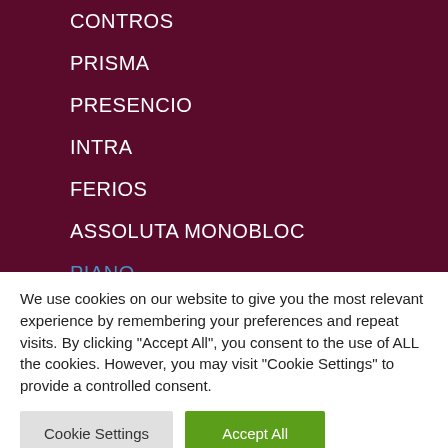CONTROS
PRISMA
PRESENCIO
INTRA
FERIOS
ASSOLUTA MONOBLOC
PIANO
CONTRIVA
SUNRAY
We use cookies on our website to give you the most relevant experience by remembering your preferences and repeat visits. By clicking "Accept All", you consent to the use of ALL the cookies. However, you may visit "Cookie Settings" to provide a controlled consent.